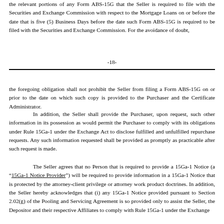the relevant portions of any Form ABS-15G that the Seller is required to file with the Securities and Exchange Commission with respect to the Mortgage Loans on or before the date that is five (5) Business Days before the date such Form ABS-15G is required to be filed with the Securities and Exchange Commission. For the avoidance of doubt,
-18-
the foregoing obligation shall not prohibit the Seller from filing a Form ABS-15G on or prior to the date on which such copy is provided to the Purchaser and the Certificate Administrator.
In addition, the Seller shall provide the Purchaser, upon request, such other information in its possession as would permit the Purchaser to comply with its obligations under Rule 15Ga-1 under the Exchange Act to disclose fulfilled and unfulfilled repurchase requests. Any such information requested shall be provided as promptly as practicable after such request is made.
The Seller agrees that no Person that is required to provide a 15Ga-1 Notice (a “15Ga-1 Notice Provider”) will be required to provide information in a 15Ga-1 Notice that is protected by the attorney-client privilege or attorney work product doctrines. In addition, the Seller hereby acknowledges that (i) any 15Ga-1 Notice provided pursuant to Section 2.02(g) of the Pooling and Servicing Agreement is so provided only to assist the Seller, the Depositor and their respective Affiliates to comply with Rule 15Ga-1 under the Exchange